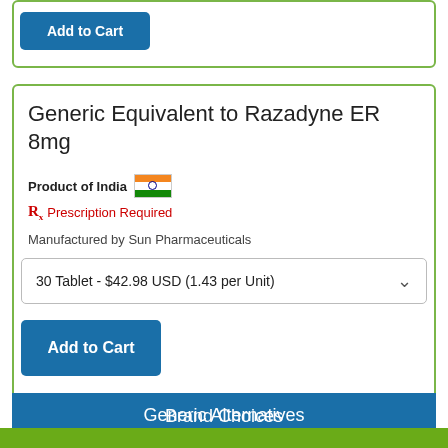Add to Cart
Generic Equivalent to Razadyne ER 8mg
Product of India
Prescription Required
Manufactured by Sun Pharmaceuticals
30 Tablet - $42.98 USD (1.43 per Unit)
Add to Cart
Brand Choices
Brand options for this medication aren't available currently.
Generic Alternatives